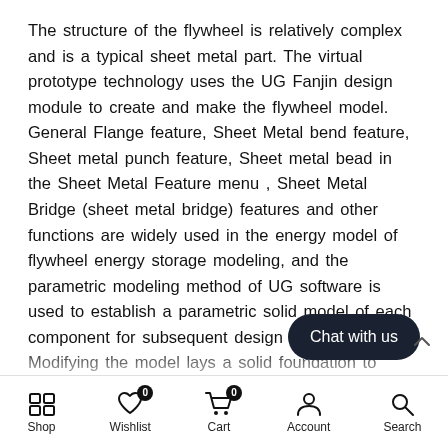The structure of the flywheel is relatively complex and is a typical sheet metal part. The virtual prototype technology uses the UG Fanjin design module to create and make the flywheel model. General Flange feature, Sheet Metal bend feature, Sheet metal punch feature, Sheet metal bead in the Sheet Metal Feature menu , Sheet Metal Bridge (sheet metal bridge) features and other functions are widely used in the energy model of flywheel energy storage modeling, and the parametric modeling method of UG software is used to establish a parametric solid model of each component for subsequent design analysis, Modifying the model lays a solid foundation to continuously improve the design and quality of the flywheel. The virtual prototype technology assembly of flywheel energy The virtual prototype technology assembly modu
[Figure (other): Chat with us button (dark rounded pill-shaped button with white text)]
Shop  Wishlist  Cart  Account  Search